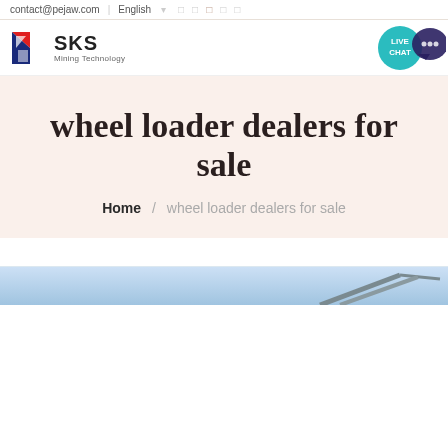contact@pejaw.com  English  [social icons]
[Figure (logo): SKS Mining Technology logo with red and blue geometric icon and text 'SKS Mining Technology']
[Figure (infographic): Live Chat bubble in teal with chat icon]
wheel loader dealers for sale
Home / wheel loader dealers for sale
[Figure (photo): Partial photo of mining/construction equipment at bottom of page]